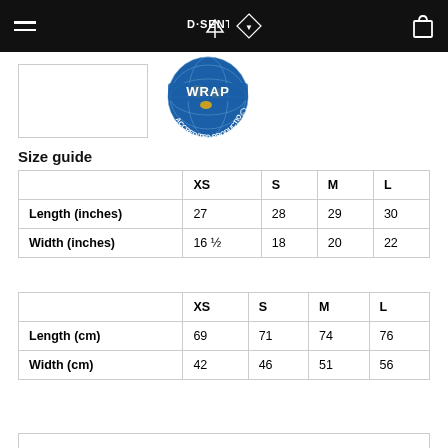D·SENT (logo navigation bar)
[Figure (logo): WRAP Accredited Production logo - blue globe with gold map, banner reading WRAP, text ACCREDITED PRODUCTION around bottom]
Size guide
|  | XS | S | M | L |
| --- | --- | --- | --- | --- |
| Length (inches) | 27 | 28 | 29 | 30 |
| Width (inches) | 16 ½ | 18 | 20 | 22 |
|  | XS | S | M | L |
| --- | --- | --- | --- | --- |
| Length (cm) | 69 | 71 | 74 | 76 |
| Width (cm) | 42 | 46 | 51 | 56 |